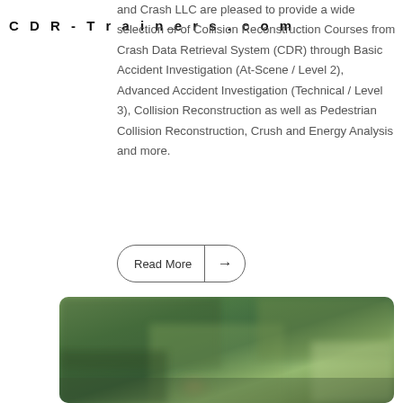CDR-Trainers.com
and Crash LLC are pleased to provide a wide selection of Collision Reconstruction Courses from Crash Data Retrieval System (CDR) through Basic Accident Investigation (At-Scene / Level 2), Advanced Accident Investigation (Technical / Level 3), Collision Reconstruction as well as Pedestrian Collision Reconstruction, Crush and Energy Analysis and more.
Read More →
[Figure (photo): Blurred outdoor photo with green vegetation background, appears to show a person or object in a natural setting]